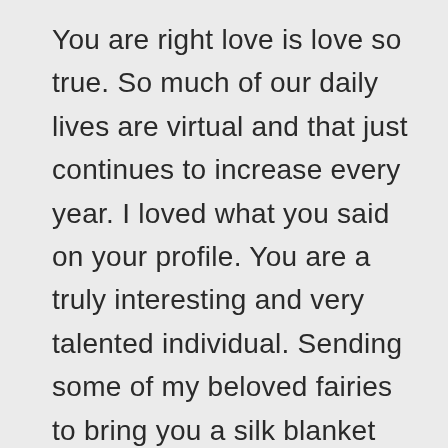You are right love is love so true. So much of our daily lives are virtual and that just continues to increase every year. I loved what you said on your profile. You are a truly interesting and very talented individual. Sending some of my beloved fairies to bring you a silk blanket made from our own silkworms and weaved by the fairies. They just need a slight opening in a window of your virtual space. When you hear what sounds like hummingbirds you will soon feel the gorgeous blanket being wrapped around you. Have an